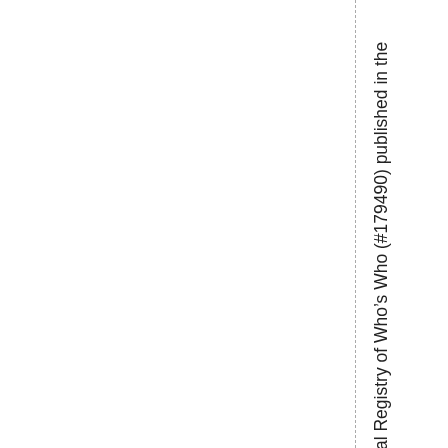al Registry of Who's Who (#179490) published in the